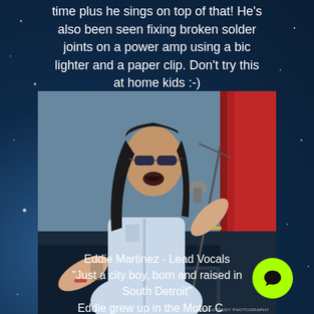time plus he sings on top of that! He's also been seen fixing broken solder joints on a power amp using a bic lighter and a paper clip. Don't try this at home kids :-)
[Figure (photo): A male rock singer with long dark hair and sunglasses, wearing a sleeveless denim vest, singing into a microphone on stage with a red curtain behind him. He is pointing outward with one hand. Photo credit: ABSOLUTEDDY PHOTOGRAPHY]
Eddie Martinez - Lead Vocals "Just a city boy, born and raised in South Detroit" Eddie grew up in the Motor City, Detroit Michigan.Influences: Elvis, Motown, The Beatles, Bob Seger,